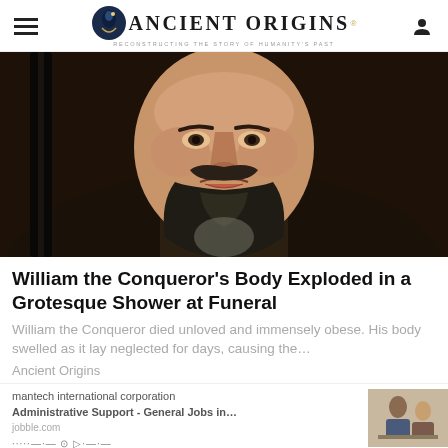Ancient Origins — Reconstructing the Story of Humanity's Past
[Figure (photo): Close-up painting of a bearded man (William the Conqueror portrait), showing face and upper chest with dark clothing and gold trim]
William the Conqueror's Body Exploded in a Grotesque Shower at Funeral
William the Conqueror died unloved and immensely obese. His body swelled as it lay neglected for days, causing the…
Ancient Origins
[Figure (screenshot): Advertisement banner showing text: 'mantech international corporation, Administrative Support - General Jobs in…, jobble.com' with a small thumbnail photo of two people and AdChoices icon]
[Figure (logo): Ancient Origins circular logo — dark blue circle with gold 'A' emblem]
This is the Ancient Origins team, and here